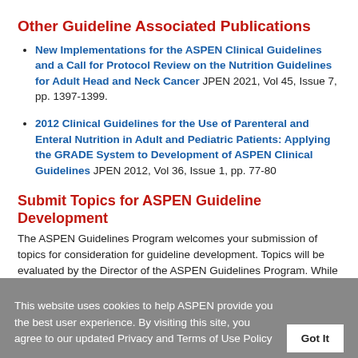Other Guideline Associated Publications
New Implementations for the ASPEN Clinical Guidelines and a Call for Protocol Review on the Nutrition Guidelines for Adult Head and Neck Cancer JPEN 2021, Vol 45, Issue 7, pp. 1397-1399.
2012 Clinical Guidelines for the Use of Parenteral and Enteral Nutrition in Adult and Pediatric Patients: Applying the GRADE System to Development of ASPEN Clinical Guidelines JPEN 2012, Vol 36, Issue 1, pp. 77-80
Submit Topics for ASPEN Guideline Development
The ASPEN Guidelines Program welcomes your submission of topics for consideration for guideline development. Topics will be evaluated by the Director of the ASPEN Guidelines Program. While it is not guaranteed that your suggestion will become a priority for guideline development, we welcome and appreciate
This website uses cookies to help ASPEN provide you the best user experience. By visiting this site, you agree to our updated Privacy and Terms of Use Policy